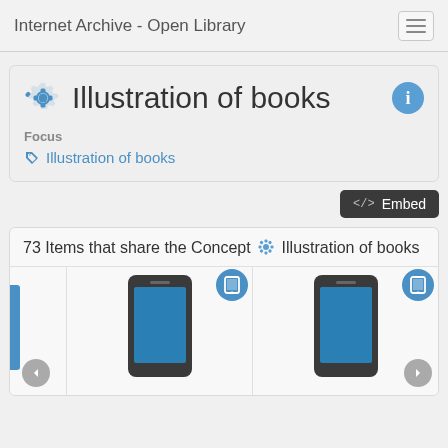Internet Archive - Open Library
Illustration of books
Focus
Illustration of books
<> Embed
73 Items that share the Concept ⚙ Illustration of books
[Figure (screenshot): Three book thumbnail items showing phone/tablet mockups with blue screens and tablet badge icons, plus navigation arrows at the bottom.]